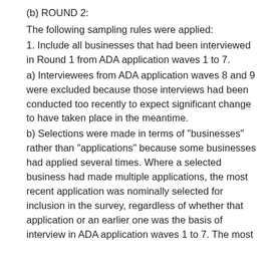(b) ROUND 2:
The following sampling rules were applied:
1. Include all businesses that had been interviewed in Round 1 from ADA application waves 1 to 7.
a) Interviewees from ADA application waves 8 and 9 were excluded because those interviews had been conducted too recently to expect significant change to have taken place in the meantime.
b) Selections were made in terms of "businesses" rather than "applications" because some businesses had applied several times. Where a selected business had made multiple applications, the most recent application was nominally selected for inclusion in the survey, regardless of whether that application or an earlier one was the basis of interview in ADA application waves 1 to 7. The most